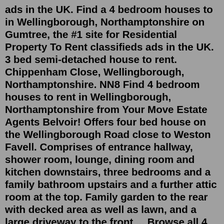ads in the UK. Find a 4 bedroom houses to in Wellingborough, Northamptonshire on Gumtree, the #1 site for Residential Property To Rent classifieds ads in the UK. 3 bed semi-detached house to rent. Chippenham Close, Wellingborough, Northamptonshire. NN8 Find 4 bedroom houses to rent in Wellingborough, Northamptonshire from Your Move Estate Agents Belvoir! Offers four bed house on the Wellingborough Road close to Weston Favell. Comprises of entrance hallway, shower room, lounge, dining room and kitchen downstairs, three bedrooms and a family bathroom upstairs and a further attic room at the top. Family garden to the rear with decked area as well as lawn, and a large driveway to the front ... Browse all 4 Bedroom houses to rent in Wellingborough,%20Northamptonshire, . Property comparison on the UKs property social network. 4 Bedroom House Wellingborough Northamptonshire £385,000 Wellingborough, Greater Manchester 4 bedrooms 3 bathrooms Trv52195999 - *360° walkthrough available* *also available to rent at